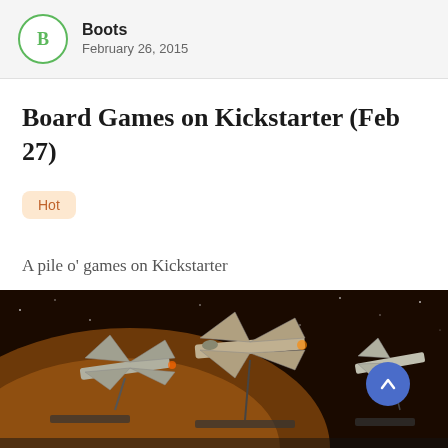Boots
February 26, 2015
Board Games on Kickstarter (Feb 27)
Hot
A pile o' games on Kickstarter
[Figure (photo): Photograph of Star Wars X-Wing miniature spaceships (X-wing and other craft) on stands against a space/planet background, with a blue circular scroll-up arrow button overlaid at bottom right]